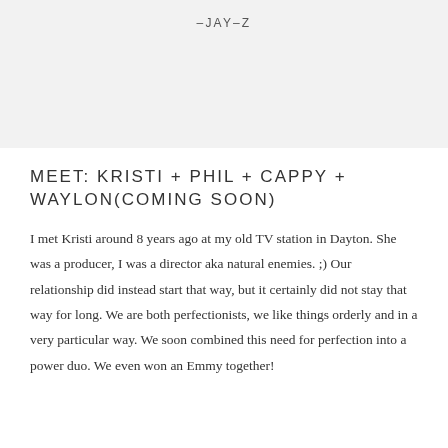–JAY–Z
MEET: KRISTI + PHIL + CAPPY + WAYLON(COMING SOON)
I met Kristi around 8 years ago at my old TV station in Dayton. She was a producer, I was a director aka natural enemies. ;) Our relationship did instead start that way, but it certainly did not stay that way for long. We are both perfectionists, we like things orderly and in a very particular way. We soon combined this need for perfection into a power duo. We even won an Emmy together!